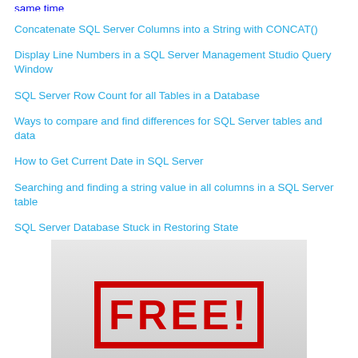same time
Concatenate SQL Server Columns into a String with CONCAT()
Display Line Numbers in a SQL Server Management Studio Query Window
SQL Server Row Count for all Tables in a Database
Ways to compare and find differences for SQL Server tables and data
How to Get Current Date in SQL Server
Searching and finding a string value in all columns in a SQL Server table
SQL Server Database Stuck in Restoring State
[Figure (illustration): Promotional banner with large red bold text reading 'FREE' on a light gray gradient background]